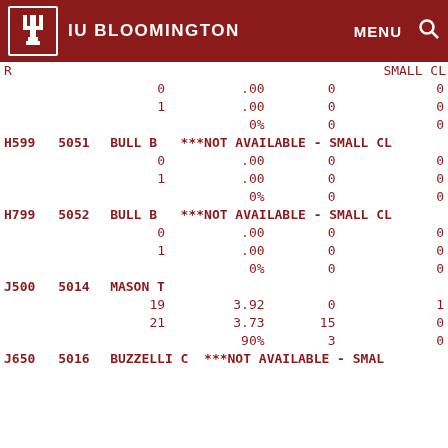IU BLOOMINGTON  MENU  [search]
| CODE | NUM | INSTRUCTOR | STATUS | COL1 | COL2 | COL3 |
| --- | --- | --- | --- | --- | --- | --- |
| (truncated) |  |  | SMALL CL |  |  |  |
|  |  | 0 | .00 | 0 | 0 |  |
|  |  | 1 | .00 | 0 | 0 |  |
|  |  |  | 0% | 0 | 0 |  |
| H599 | 5051 | BULL B | ***NOT AVAILABLE - SMALL CL |  |  |  |
|  |  | 0 | .00 | 0 | 0 |  |
|  |  | 1 | .00 | 0 | 0 |  |
|  |  |  | 0% | 0 | 0 |  |
| H799 | 5052 | BULL B | ***NOT AVAILABLE - SMALL CL |  |  |  |
|  |  | 0 | .00 | 0 | 0 |  |
|  |  | 1 | .00 | 0 | 0 |  |
|  |  |  | 0% | 0 | 0 |  |
| J500 | 5014 | MASON T |  |  |  |  |
|  |  | 19 | 3.92 | 0 | 1 |  |
|  |  | 21 | 3.73 | 15 | 0 |  |
|  |  |  | 90% | 3 | 0 |  |
| J650 | 5016 | BUZZELLI C | ***NOT AVAILABLE - SMAL |  |  |  |